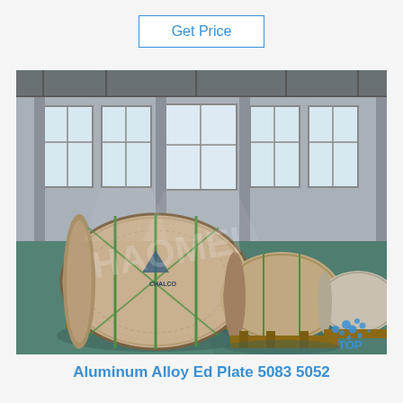Get Price
[Figure (photo): Warehouse interior showing large aluminum coil rolls wrapped in paper and bound with green straps, sitting on wooden pallets on a teal/green floor. Multiple coils visible in background. A watermark 'HAOMEI' overlays the image. A 'TOP' logo with blue dots visible in bottom right corner of photo.]
Aluminum Alloy Ed Plate 5083 5052